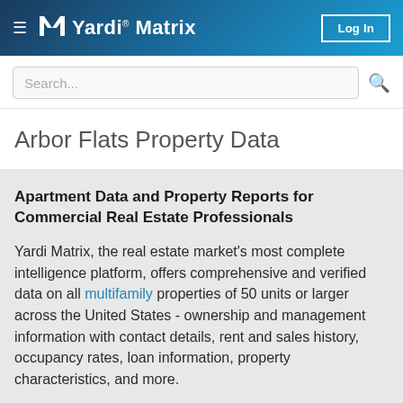Yardi Matrix — Log In
Arbor Flats Property Data
Apartment Data and Property Reports for Commercial Real Estate Professionals
Yardi Matrix, the real estate market's most complete intelligence platform, offers comprehensive and verified data on all multifamily properties of 50 units or larger across the United States - ownership and management information with contact details, rent and sales history, occupancy rates, loan information, property characteristics, and more.